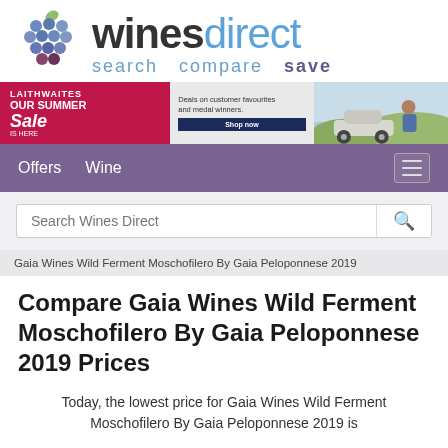[Figure (logo): WinesDirect logo with grape cluster icon and tagline 'search compare save']
[Figure (photo): Laithwaites summer sale banner advertisement with 'Our Summer Sale is Here' text, 'Deals on customer favourites and medal winners', Shop now button, and image of people with car]
Offers  Wine
Search Wines Direct
Gaia Wines Wild Ferment Moschofilero By Gaia Peloponnese 2019
Compare Gaia Wines Wild Ferment Moschofilero By Gaia Peloponnese 2019 Prices
Today, the lowest price for Gaia Wines Wild Ferment Moschofilero By Gaia Peloponnese 2019 is